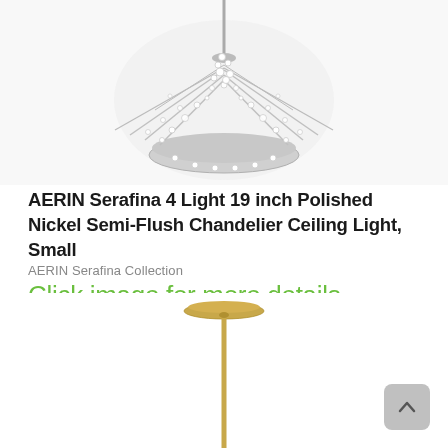[Figure (photo): Top portion of a crystal chandelier with polished nickel finish, showing decorative crystal beads hanging, cropped at top of page]
AERIN Serafina 4 Light 19 inch Polished Nickel Semi-Flush Chandelier Ceiling Light, Small
AERIN Serafina Collection
Click image for more details
See Details
[Figure (photo): Bottom portion showing a floor lamp with a thin brass stem and a decorative brass canopy at top, cropped at bottom of page]